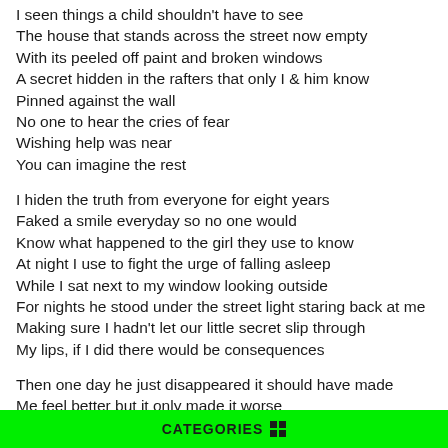I seen things a child shouldn't have to see
The house that stands across the street now empty
With its peeled off paint and broken windows
A secret hidden in the rafters that only I & him know
Pinned against the wall
No one to hear the cries of fear
Wishing help was near
You can imagine the rest
I hiden the truth from everyone for eight years
Faked a smile everyday so no one would
Know what happened to the girl they use to know
At night I use to fight the urge of falling asleep
While I sat next to my window looking outside
For nights he stood under the street light staring back at me
Making sure I hadn't let our little secret slip through
My lips, if I did there would be consequences
Then one day he just disappeared it should have made
Me feel better but it only made it worse
CATEGORIES